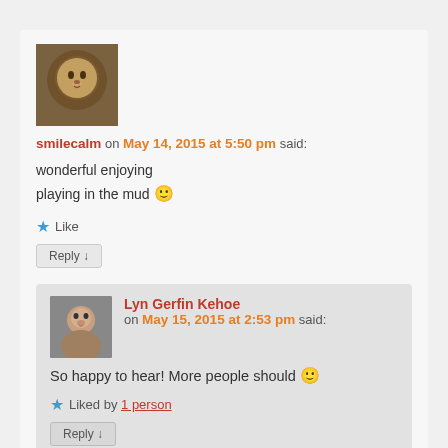[Figure (photo): Avatar photo of a lion stone sculpture]
smilecalm on May 14, 2015 at 5:50 pm said:
wonderful enjoying
playing in the mud 🙂
★ Like
Reply ↓
[Figure (photo): Avatar photo of Lyn Gerfin Kehoe]
Lyn Gerfin Kehoe on May 15, 2015 at 2:53 pm said:
So happy to hear! More people should 🙂
★ Liked by 1 person
Reply ↓